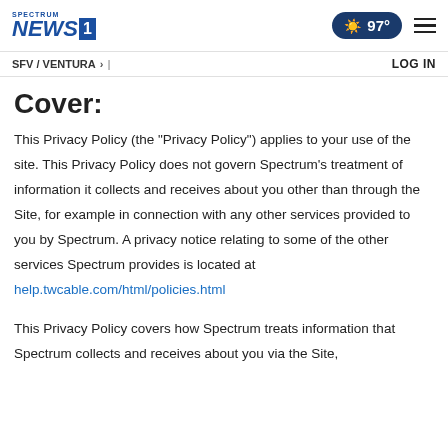Spectrum News 1 | SFV / VENTURA | 97° | LOG IN
Cover:
This Privacy Policy (the "Privacy Policy") applies to your use of the site. This Privacy Policy does not govern Spectrum's treatment of information it collects and receives about you other than through the Site, for example in connection with any other services provided to you by Spectrum. A privacy notice relating to some of the other services Spectrum provides is located at help.twcable.com/html/policies.html
This Privacy Policy covers how Spectrum treats information that Spectrum collects and receives about you via the Site,